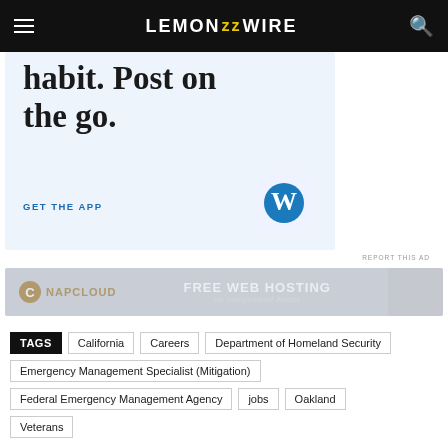LEMON ZZ WIRE
[Figure (screenshot): WordPress app advertisement with text 'habit. Post on the go.' and 'GET THE APP' call to action with WordPress W logo icon on light blue background]
REPORT THIS AD
[Figure (screenshot): NapCloud banner advertisement: FREE WEB HOSTING for Independent Artists]
TAGS  California  Careers  Department of Homeland Security  Emergency Management Specialist (Mitigation)  Federal Emergency Management Agency  jobs  Oakland  Veterans